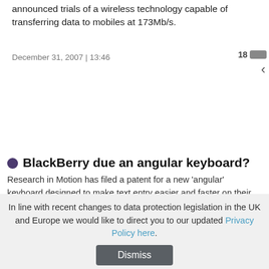announced trials of a wireless technology capable of transferring data to mobiles at 173Mb/s.
December 31, 2007 | 13:46
18
BlackBerry due an angular keyboard?
Research in Motion has filed a patent for a new 'angular' keyboard designed to make text entry easier and faster on their flagship BlackBerry devices. It looks a little goofy, but it...
In line with recent changes to data protection legislation in the UK and Europe we would like to direct you to our updated Privacy Policy here. Dismiss